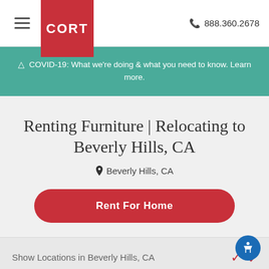CORT — 888.360.2678
⚠ COVID-19: What we're doing & what you need to know. Learn more.
Renting Furniture | Relocating to Beverly Hills, CA
Beverly Hills, CA
Rent For Home
Show Locations in Beverly Hills, CA
Browse Categories